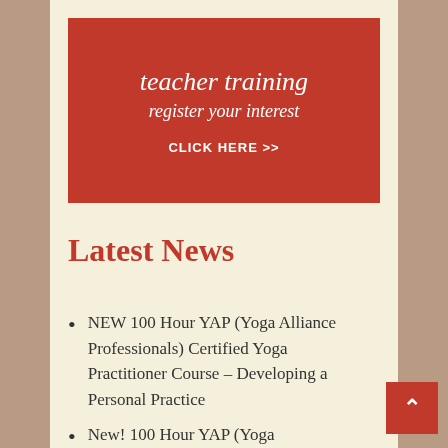[Figure (infographic): Red banner with italic white text 'teacher training', 'register your interest', and 'CLICK HERE >>' in bold white capitals]
Latest News
NEW 100 Hour YAP (Yoga Alliance Professionals) Certified Yoga Practitioner Course – Developing a Personal Practice
New! 100 Hour YAP (Yoga